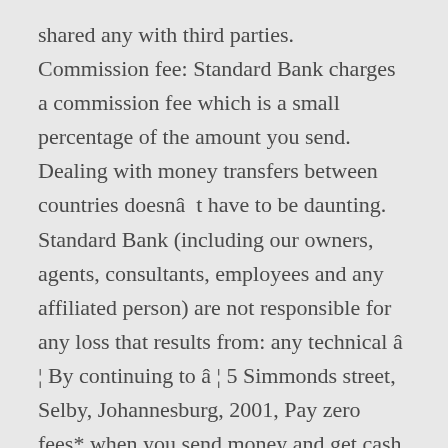shared any with third parties. Commission fee: Standard Bank charges a commission fee which is a small percentage of the amount you send. Dealing with money transfers between countries doesnât have to be daunting. Standard Bank (including our owners, agents, consultants, employees and any affiliated person) are not responsible for any loss that results from: any technical â¦ By continuing to â¦ 5 Simmonds street, Selby, Johannesburg, 2001, Pay zero fees* when you send money and get cash to recipients within 10 minutes of sending, Your funds can be transferred to the recipient's bank account or digital wallet, MoneyGram has over 350 000 outlets across